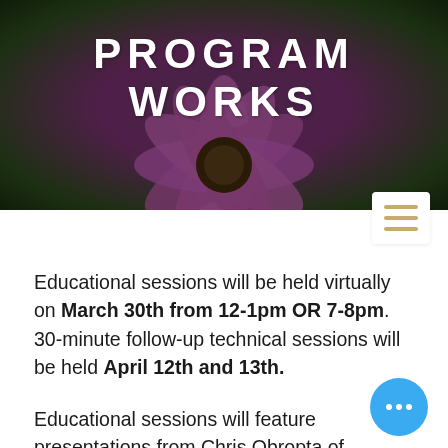[Figure (photo): Close-up photo of a purple/pink flower (daisy-like) with text overlay reading PROGRAM WORKS in white bold letters on a dark background]
Educational sessions will be held virtually on March 30th from 12-1pm OR 7-8pm. 30-minute follow-up technical sessions will be held April 12th and 13th.
Educational sessions will feature presentations from Chris Obropta of Rutgers Cooperative Extension on the benefits of rain gardens and on native plants from Rachel